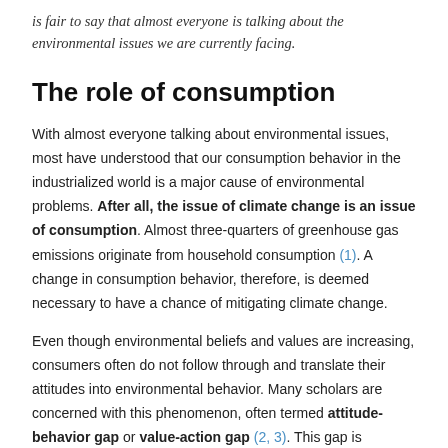is fair to say that almost everyone is talking about the environmental issues we are currently facing.
The role of consumption
With almost everyone talking about environmental issues, most have understood that our consumption behavior in the industrialized world is a major cause of environmental problems. After all, the issue of climate change is an issue of consumption. Almost three-quarters of greenhouse gas emissions originate from household consumption (1). A change in consumption behavior, therefore, is deemed necessary to have a chance of mitigating climate change.
Even though environmental beliefs and values are increasing, consumers often do not follow through and translate their attitudes into environmental behavior. Many scholars are concerned with this phenomenon, often termed attitude-behavior gap or value-action gap (2, 3). This gap is frequently calculated by subtracting the market share of sustainable goods, e.g., organic produce, from the percentage of consumers having an intention to buy those products. The estimated size of the gap ranges mostly around the 30% mark (4, 5).